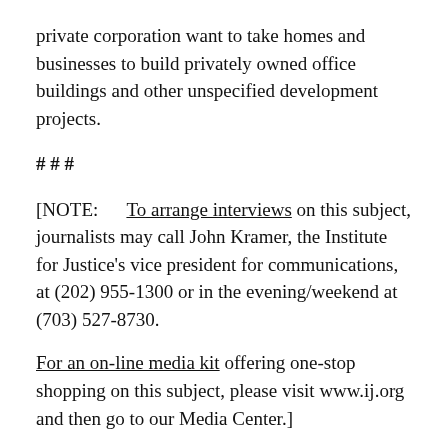private corporation want to take homes and businesses to build privately owned office buildings and other unspecified development projects.
# # #
[NOTE:     To arrange interviews on this subject, journalists may call John Kramer, the Institute for Justice's vice president for communications, at (202) 955-1300 or in the evening/weekend at (703) 527-8730.

For an on-line media kit offering one-stop shopping on this subject, please visit www.ij.org and then go to our Media Center.]